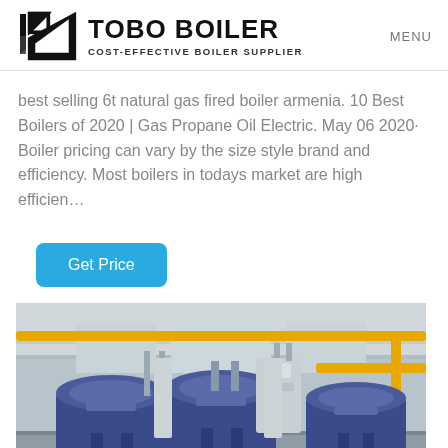TOBO BOILER — COST-EFFECTIVE BOILER SUPPLIER — MENU
best selling 6t natural gas fired boiler armenia. 10 Best Boilers of 2020 | Gas Propane Oil Electric. May 06 2020· Boiler pricing can vary by the size style brand and efficiency. Most boilers in todays market are high efficien…
Get Price
[Figure (photo): Industrial boiler room with multiple large blue cylindrical boilers, yellow pipes running along the ceiling and sides, red valves, and various equipment in a white-painted facility.]